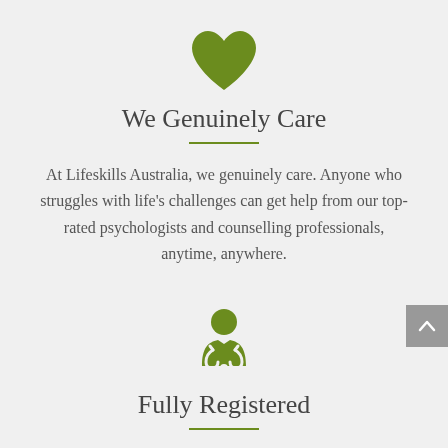[Figure (illustration): Green heart icon centered at top of page]
We Genuinely Care
At Lifeskills Australia, we genuinely care. Anyone who struggles with life's challenges can get help from our top-rated psychologists and counselling professionals, anytime, anywhere.
[Figure (illustration): Green doctor/counsellor icon with stethoscope]
Fully Registered